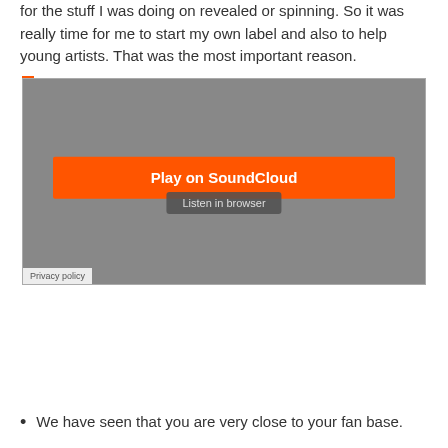for the stuff I was doing on revealed or spinning. So it was really time for me to start my own label and also to help young artists. That was the most important reason.
[Figure (screenshot): SoundCloud embedded player widget showing a gray background with an orange 'Play on SoundCloud' button, a 'Listen in browser' button, SoundCloud logo/waveform graphic, and a 'Privacy policy' label at bottom left.]
We have seen that you are very close to your fan base.